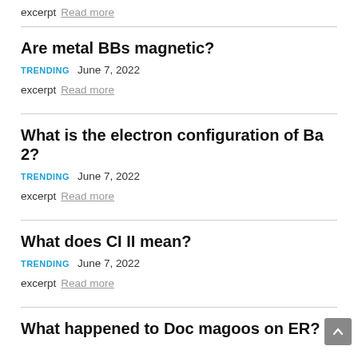excerpt Read more
Are metal BBs magnetic?
TRENDING   June 7, 2022
excerpt Read more
What is the electron configuration of Ba 2?
TRENDING   June 7, 2022
excerpt Read more
What does CI II mean?
TRENDING   June 7, 2022
excerpt Read more
What happened to Doc magoos on ER?